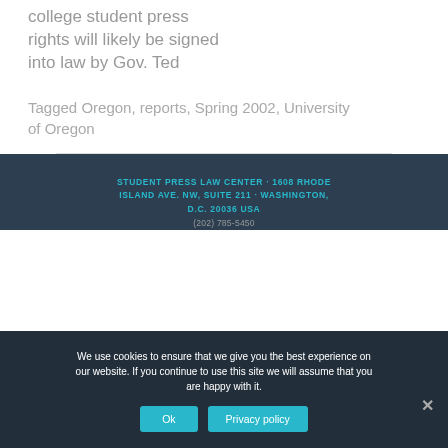college student press rights will likely be signed into law by Gov. Ted
Tagged Oregon, reports, Spring 2002, University of Oregon
STUDENT PRESS LAW CENTER · 1608 RHODE ISLAND AVE. NW, SUITE 211 · WASHINGTON, D.C. 20036 USA
(202) 785-5450
We use cookies to ensure that we give you the best experience on our website. If you continue to use this site we will assume that you are happy with it.